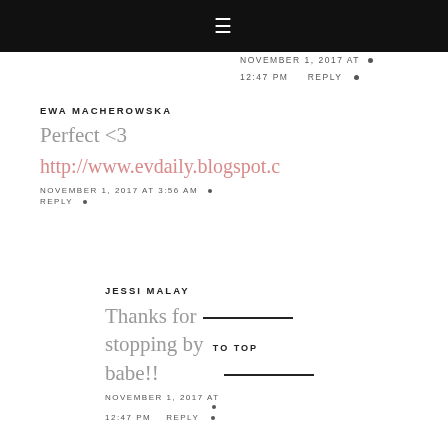≡
NOVEMBER 1, 2017 AT • 12:47 PM   REPLY •
EWA MACHEROWSKA
Perfect <3
http://www.evdaily.blogspot.c
NOVEMBER 1, 2017 AT 3:56 AM •
REPLY •
JESSI MALAY
Thanks for stopping by babe!!
TO TOP
NOVEMBER 1, 2017 AT • 12:47 PM   REPLY •